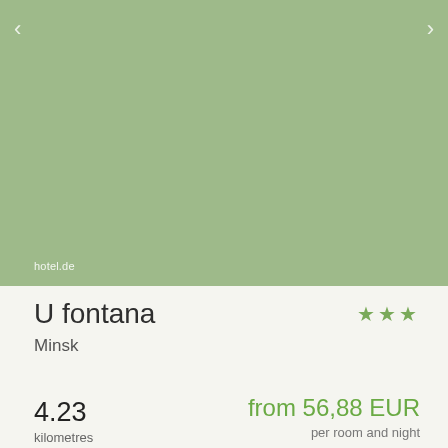[Figure (photo): Hotel photo placeholder — solid sage green background with navigation arrows and hotel.de watermark]
U fontana
★★★
Minsk
4.23
kilometres
from 56,88 EUR
per room and night
Details ∨
show offer ›
5